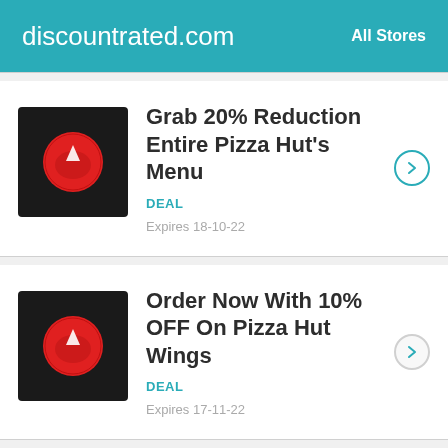discountrated.com   All Stores
Grab 20% Reduction Entire Pizza Hut's Menu
DEAL
Expires 18-10-22
Order Now With 10% OFF On Pizza Hut Wings
DEAL
Expires 17-11-22